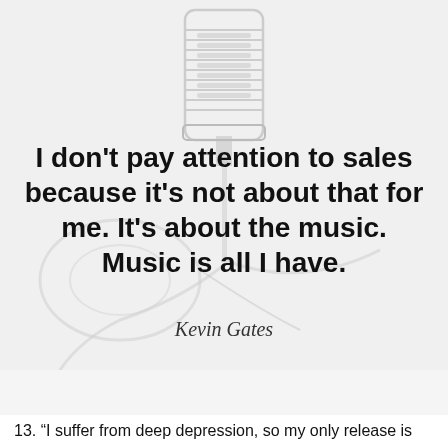[Figure (illustration): Faded grayscale vintage microphone with headphone cables as background image]
I don't pay attention to sales because it's not about that for me. It's about the music. Music is all I have.
Kevin Gates
EVERYDAY POWER
13. “I suffer from deep depression, so my only release is